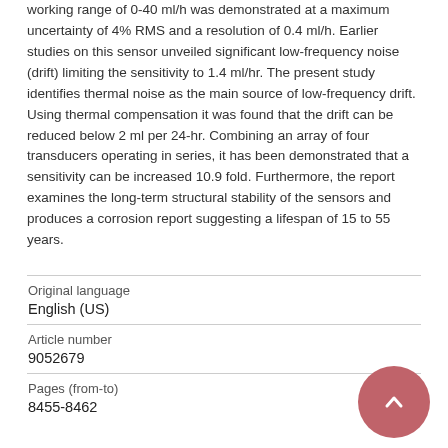working range of 0-40 ml/h was demonstrated at a maximum uncertainty of 4% RMS and a resolution of 0.4 ml/h. Earlier studies on this sensor unveiled significant low-frequency noise (drift) limiting the sensitivity to 1.4 ml/hr. The present study identifies thermal noise as the main source of low-frequency drift. Using thermal compensation it was found that the drift can be reduced below 2 ml per 24-hr. Combining an array of four transducers operating in series, it has been demonstrated that a sensitivity can be increased 10.9 fold. Furthermore, the report examines the long-term structural stability of the sensors and produces a corrosion report suggesting a lifespan of 15 to 55 years.
| Original language |  |
| English (US) |  |
| Article number |  |
| 9052679 |  |
| Pages (from-to) |  |
| 8455-8462 |  |